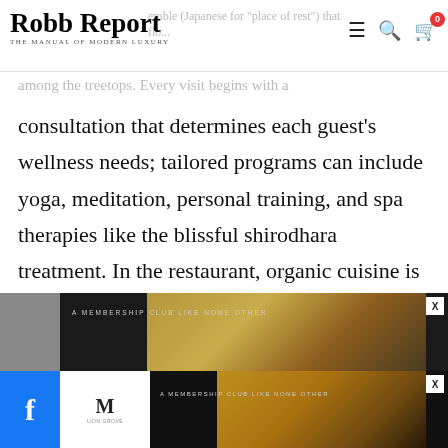Robb Report — THE MANUAL OF MODERN LUXURY
among the treetops. Every visit begins with a
consultation that determines each guest's wellness needs; tailored programs can include yoga, meditation, personal training, and spa therapies like the blissful shirodhara treatment. In the restaurant, organic cuisine is tailored to each guest's dosha, or Ayurvedic energy.
Wild Coast tented lodge
[Figure (photo): Advertisement banner showing luxury resort buildings at night with text 'A MEMBERSHIP CLUB LIKE NONE OTHER' with a close button X]
[Figure (photo): Second advertisement banner showing luxury resort buildings with M logo, text 'A MEMBERSHIP CLUB LIKE NONE OTHER', close button X, and Facebook icon on the left]